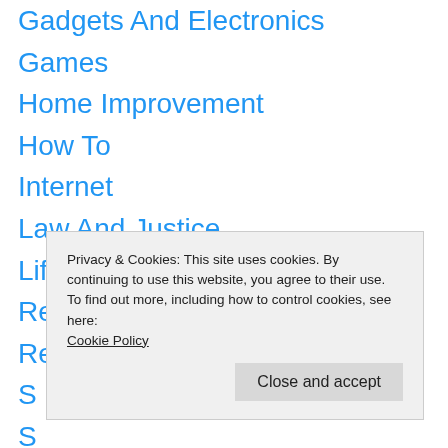Gadgets And Electronics
Games
Home Improvement
How To
Internet
Law And Justice
Lifestyle And Fashion
Real Estate
Reviews
S…
S…
S…
S…
Software And Service
Technology
Privacy & Cookies: This site uses cookies. By continuing to use this website, you agree to their use.
To find out more, including how to control cookies, see here:
Cookie Policy
Close and accept